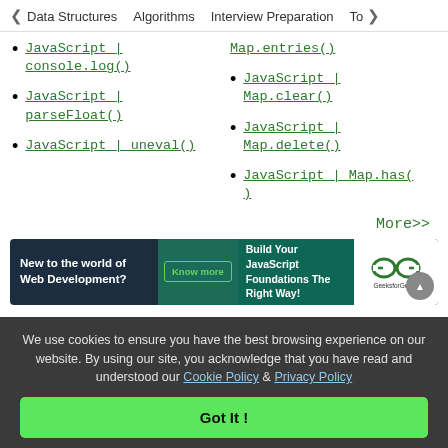< Data Structures   Algorithms   Interview Preparation   To>
JavaScript | console.log()
JavaScript | Map.entries()
JavaScript | parseFloat()
JavaScript | Map.clear()
JavaScript | uneval()
JavaScript | Map.delete()
JavaScript | Map.has()
More>>
[Figure (infographic): GeeksforGeeks ad banner: 'New to the world of Web Development? Know more | Build Your JavaScript Foundations The Right Way!' with GFG logo]
We use cookies to ensure you have the best browsing experience on our website. By using our site, you acknowledge that you have read and understood our Cookie Policy & Privacy Policy
Got It !